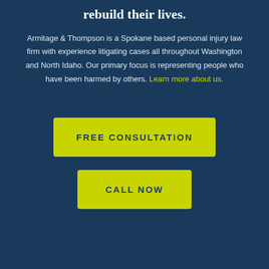rebuild their lives.
Armitage & Thompson is a Spokane based personal injury law firm with experience litigating cases all throughout Washington and North Idaho. Our primary focus is representing people who have been harmed by others. Learn more about us.
FREE CONSULTATION
CALL NOW